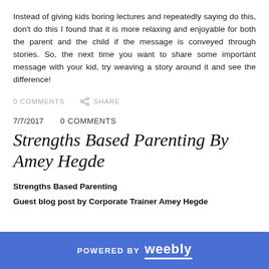Instead of giving kids boring lectures and repeatedly saying do this, don't do this I found that it is more relaxing and enjoyable for both the parent and the child if the message is conveyed through stories. So, the next time you want to share some important message with your kid, try weaving a story around it and see the difference!
0 COMMENTS   SHARE
7/7/2017   0 COMMENTS
Strengths Based Parenting By Amey Hegde
Strengths Based Parenting
Guest blog post by Corporate Trainer Amey Hegde
POWERED BY weebly